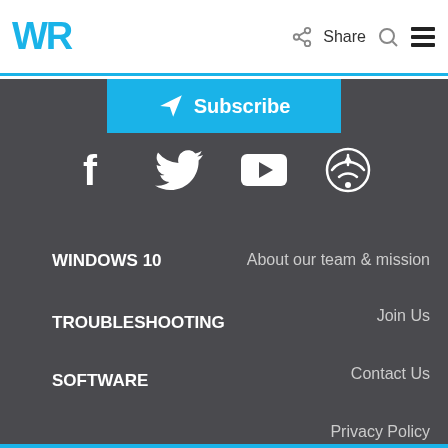WR | Share [search] [menu]
Subscribe
[Figure (illustration): Social media icons: Facebook, Twitter, YouTube, Podcast/RSS]
WINDOWS 10
About our team & mission
Join Us
TROUBLESHOOTING
Contact Us
SOFTWARE
Privacy Policy
HARDWARE
Company News
HOW TO
Consent choices